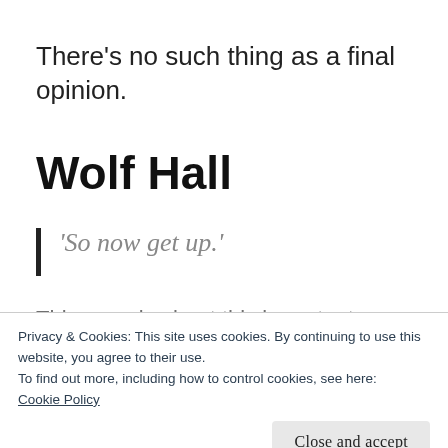There's no such thing as a final opinion.
Wolf Hall
'So now get up.'
This page is about this important…
Privacy & Cookies: This site uses cookies. By continuing to use this website, you agree to their use.
To find out more, including how to control cookies, see here:
Cookie Policy
Close and accept
and how much fiction?) but it doesn't make a